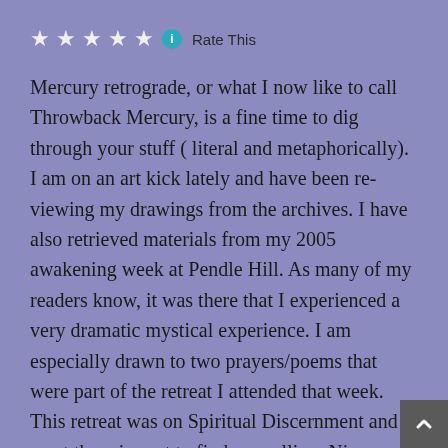[Figure (other): Five white star rating icons followed by a teal info circle icon and 'Rate This' text label]
Mercury retrograde, or what I now like to call Throwback Mercury, is a fine time to dig through your stuff ( literal and metaphorically). I am on an art kick lately and have been reviewing my drawings from the archives. I have also retrieved materials from my 2005 awakening week at Pendle Hill. As many of my readers know, it was there that I experienced a very dramatic mystical experience. I am especially drawn to two prayers/poems that were part of the retreat I attended that week. This retreat was on Spiritual Discernment and I went there in part to find my calling. Nine years later and still looking...
This magnificent class was facilitated by the glorious Nancy Bieber and if I have not mentioned her before, let